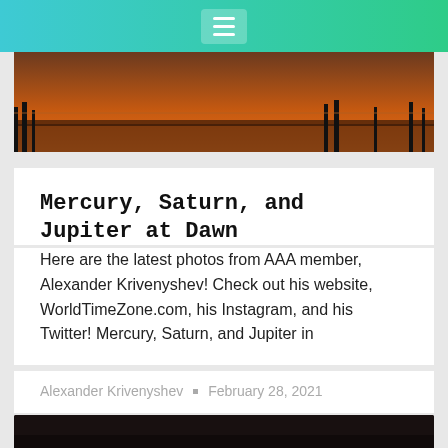≡
[Figure (photo): Sunset or dusk landscape photo with orange-red sky and dark silhouettes of trees/structures along the horizon]
Mercury, Saturn, and Jupiter at Dawn
Here are the latest photos from AAA member, Alexander Krivenyshev! Check out his website, WorldTimeZone.com, his Instagram, and his Twitter! Mercury, Saturn, and Jupiter in
Alexander Krivenyshev • February 28, 2021
[Figure (photo): Dark nighttime or dawn sky photograph, partially visible at bottom of page]